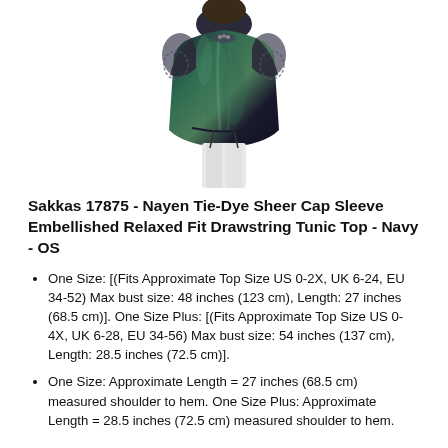[Figure (photo): Partial photo of a woman wearing a tie-dye navy sheer cap sleeve tunic top, cropped at the torso, showing the top from shoulders to below the waist.]
Sakkas 17875 - Nayen Tie-Dye Sheer Cap Sleeve Embellished Relaxed Fit Drawstring Tunic Top - Navy - OS
One Size: [(Fits Approximate Top Size US 0-2X, UK 6-24, EU 34-52) Max bust size: 48 inches (123 cm), Length: 27 inches (68.5 cm)]. One Size Plus: [(Fits Approximate Top Size US 0-4X, UK 6-28, EU 34-56) Max bust size: 54 inches (137 cm), Length: 28.5 inches (72.5 cm)].
One Size: Approximate Length = 27 inches (68.5 cm) measured shoulder to hem. One Size Plus: Approximate Length = 28.5 inches (72.5 cm) measured shoulder to hem.